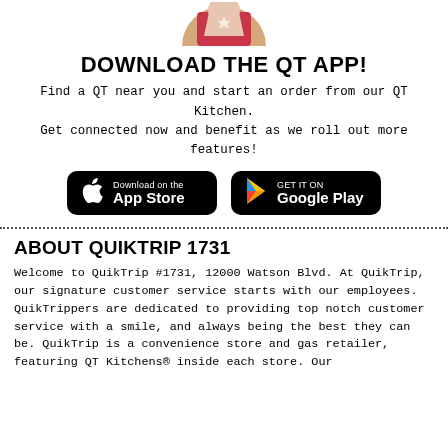[Figure (photo): Partial photo of a person holding a QT cup, cropped at top]
DOWNLOAD THE QT APP!
Find a QT near you and start an order from our QT Kitchen. Get connected now and benefit as we roll out more features!
[Figure (other): App Store and Google Play download buttons side by side]
ABOUT QUIKTRIP 1731
Welcome to QuikTrip #1731, 12000 Watson Blvd. At QuikTrip, our signature customer service starts with our employees. QuikTrippers are dedicated to providing top notch customer service with a smile, and always being the best they can be. QuikTrip is a convenience store and gas retailer, featuring QT Kitchens® inside each store. Our